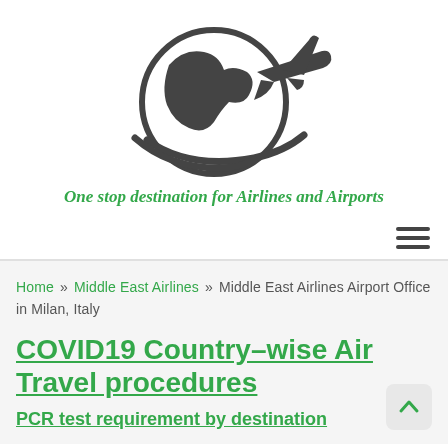[Figure (logo): Travel website logo showing a globe with an airplane swooping around it, silhouette style in dark gray]
One stop destination for Airlines and Airports
[Figure (other): Hamburger menu icon (three horizontal lines)]
Home » Middle East Airlines » Middle East Airlines Airport Office in Milan, Italy
COVID19 Country-wise Air Travel procedures
PCR test requirement by destination